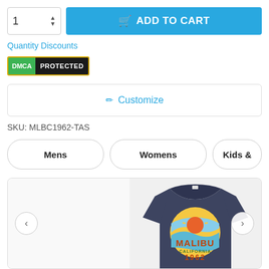[Figure (screenshot): Quantity input box showing '1' with up/down arrows, next to a blue 'ADD TO CART' button with cart icon]
Quantity Discounts
[Figure (logo): DMCA PROTECTED badge with green 'DMCA' label and black 'PROTECTED' label, gold border]
✏ Customize
SKU: MLBC1962-TAS
Mens | Womens | Kids &
[Figure (photo): Product photo of a navy blue t-shirt with Malibu California 1962 retro surf graphic featuring sunset and waves design, shown on right panel of gallery]